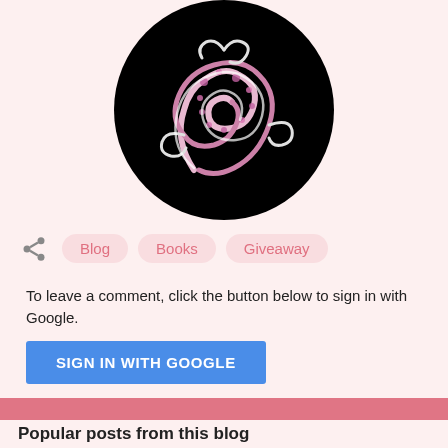[Figure (logo): Circular black logo with decorative swirling pink and white design, partially cropped at top]
Blog
Books
Giveaway
To leave a comment, click the button below to sign in with Google.
SIGN IN WITH GOOGLE
Popular posts from this blog